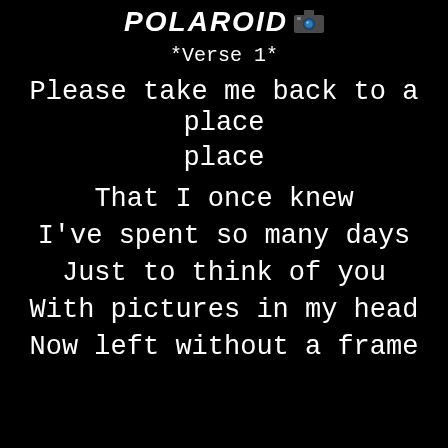POLAROID 📷
*Verse 1*
Please take me back to a place
That I once knew
I've spent so many days
Just to think of you
With pictures in my head
Now left without a frame